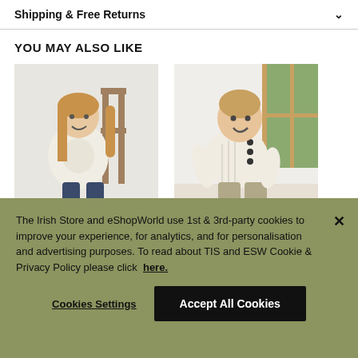Shipping & Free Returns
YOU MAY ALSO LIKE
[Figure (photo): Young girl with long blonde hair wearing a cream knit sweater, sitting on a wooden chair against a white wall]
[Figure (photo): Toddler boy wearing a cream ribbed knit sweater with dark buttons and beige shorts, sitting on a white surface near a wooden-framed window]
The Irish Store and eShopWorld use 1st & 3rd-party cookies to improve your experience, for analytics, and for personalisation and advertising purposes. To read about TIS and ESW Cookie & Privacy Policy please click here.
Cookies Settings
Accept All Cookies